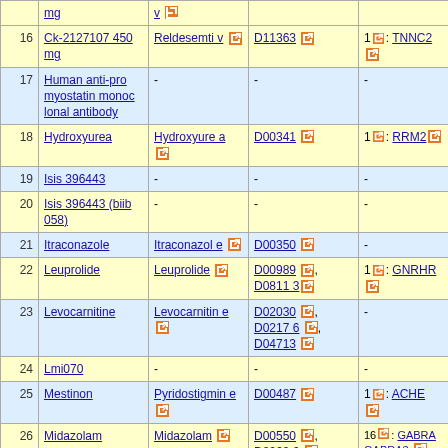| # | Drug | KEGG Drug | KEGG Entry | Targets |
| --- | --- | --- | --- | --- |
| 16 | Ck-2127107 450 mg | Reldesemtiv [ext] | D11363 [ext] | 1[ext]: TNNC2 [ext] |
| 17 | Human anti-pro myostatin monoclonal antibody | - | - | - |
| 18 | Hydroxyurea | Hydroxyurea [ext] | D00341 [ext] | 1[ext]: RRM2 [ext] |
| 19 | Isis 396443 | - | - | - |
| 20 | Isis 396443 (biib 058) | - | - | - |
| 21 | Itraconazole | Itraconazole [ext] | D00350 [ext] | - |
| 22 | Leuprolide | Leuprolide [ext] | D00989 [ext], D08113 [ext] | 1[ext]: GNRHR [ext] |
| 23 | Levocarnitine | Levocarnitine [ext] | D02030 [ext], D02176 [ext], D04713 [ext] | - |
| 24 | Lmi070 | - | - | - |
| 25 | Mestinon | Pyridostigmine [ext] | D00487 [ext] | 1[ext]: ACHE [ext] |
| 26 | Midazolam | Midazolam [ext] | D00550 [ext], D00696 [ext], D05028 [ext] | 16[ext]: GABRA [ext] GABRA3 [ext], RA5 [ext], GAB 1 [ext], GABRB GABRD [ext], G G1 [ext], GABR [ext] |